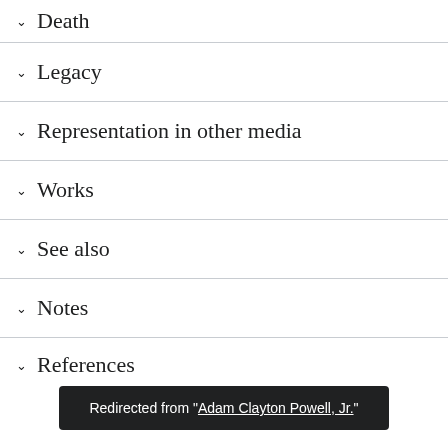Death
Legacy
Representation in other media
Works
See also
Notes
References
Redirected from "Adam Clayton Powell, Jr."